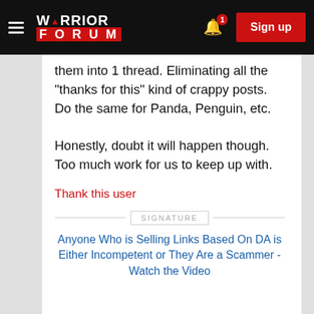Warrior Forum - Sign up
them into 1 thread. Eliminating all the "thanks for this" kind of crappy posts. Do the same for Panda, Penguin, etc.

Honestly, doubt it will happen though. Too much work for us to keep up with.
Thank this user
SIGNATURE
Anyone Who is Selling Links Based On DA is Either Incompetent or They Are a Scammer - Watch the Video